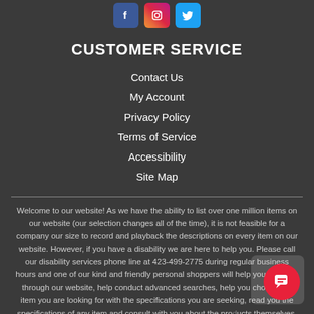[Figure (logo): Social media icons: Facebook (blue), Instagram (gradient), Twitter (light blue)]
CUSTOMER SERVICE
Contact Us
My Account
Privacy Policy
Terms of Service
Accessibility
Site Map
Welcome to our website! As we have the ability to list over one million items on our website (our selection changes all of the time), it is not feasible for a company our size to record and playback the descriptions on every item on our website. However, if you have a disability we are here to help you. Please call our disability services phone line at 423-499-2775 during regular business hours and one of our kind and friendly personal shoppers will help you navigate through our website, help conduct advanced searches, help you choose the item you are looking for with the specifications you are seeking, read you the specifications of any item and consult with you about the products themselves. There is no charge for the help of this personal shopper for anyone with a disability. Finally, your personal shopper will explain